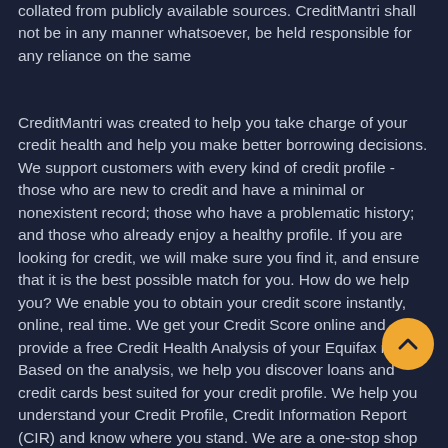Some of the information presented on this website has been collated from publicly available sources. CreditMantri shall not be in any manner whatsoever, be held responsible for any reliance on the same
CreditMantri was created to help you take charge of your credit health and help you make better borrowing decisions. We support customers with every kind of credit profile - those who are new to credit and have a minimal or nonexistent record; those who have a problematic history; and those who already enjoy a healthy profile. If you are looking for credit, we will make sure you find it, and ensure that it is the best possible match for you. How do we help you? We enable you to obtain your credit score instantly, online, real time. We get your Credit Score online and provide a free Credit Health Analysis of your Equifax report. Based on the analysis, we help you discover loans and credit cards best suited for your credit profile. We help you understand your Credit Profile, Credit Information Report (CIR) and know where you stand. We are a one-stop shop for all your credit needs. We make it easy for you to browse through and compare the various financial products on offer on the market; access our free and user-friendly online tools; and finally, enjoy a stress-free application process with quick approvals. We ensure that you have a better shot at